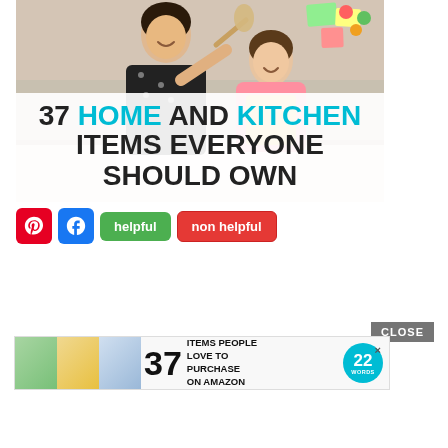[Figure (photo): Photo of a woman and young girl cooking together in kitchen, with overlay text reading '37 HOME AND KITCHEN ITEMS EVERYONE SHOULD OWN']
helpful | non helpful
[Figure (infographic): Advertisement banner: '37 ITEMS PEOPLE LOVE TO PURCHASE ON AMAZON' with 22 Words logo and CLOSE button]